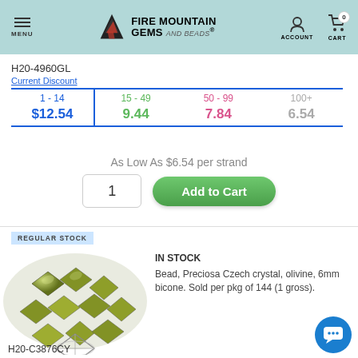MENU | FIRE MOUNTAIN GEMS and Beads | ACCOUNT | CART 0
H20-4960GL
| 1 - 14 | 15 - 49 | 50 - 99 | 100+ |
| --- | --- | --- | --- |
| $12.54 | 9.44 | 7.84 | 6.54 |
As Low As $6.54 per strand
1  Add to Cart
REGULAR STOCK
[Figure (photo): Olivine green Preciosa Czech crystal 6mm bicone beads piled together, with a line drawing of a single bicone bead below]
IN STOCK
Bead, Preciosa Czech crystal, olivine, 6mm bicone. Sold per pkg of 144 (1 gross).
H20-C3876CY